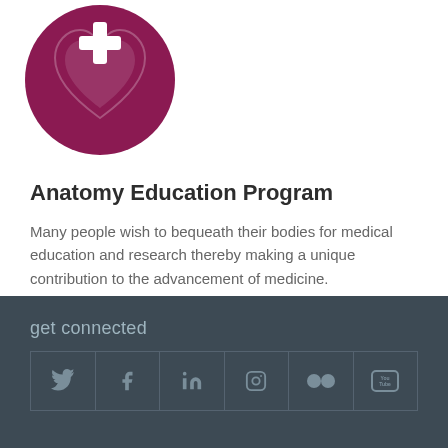[Figure (illustration): Dark maroon/crimson circular icon with a medical cross and heart shape, partially visible at top]
Anatomy Education Program
Many people wish to bequeath their bodies for medical education and research thereby making a unique contribution to the advancement of medicine.
Read more
get connected — social media icons: Twitter, Facebook, LinkedIn, Instagram, Flickr, YouTube